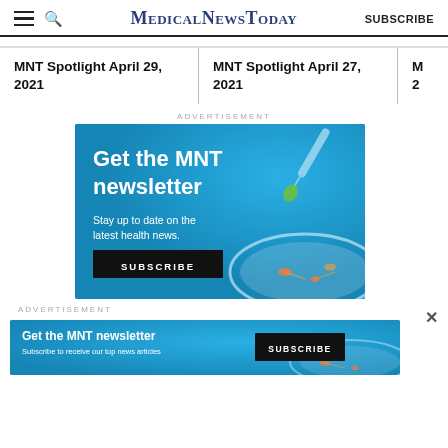MedicalNewsToday SUBSCRIBE
MNT Spotlight April 29, 2021
MNT Spotlight April 27, 2021
M... 2...
ADVERTISEMENT
[Figure (illustration): MNT newsletter advertisement banner with blue background, dropper, petri dish. Text: Get the MNT newsletter. Stay up to date on the latest health news. SUBSCRIBE button.]
×
ADVERTISEMENT
[Figure (illustration): MNT newsletter bottom strip ad. Get the MNT newsletter. Subscribe to receive our top news articles. SUBSCRIBE button.]